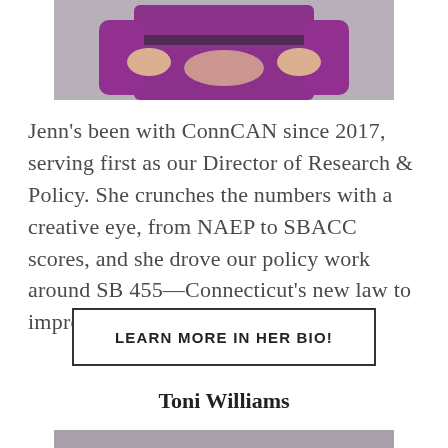[Figure (photo): Partial photo of a woman in a purple dress with hands on hips, cropped to show torso only against a grey background]
Jenn's been with ConnCAN since 2017, serving first as our Director of Research & Policy. She crunches the numbers with a creative eye, from NAEP to SBACC scores, and she drove our policy work around SB 455—Connecticut's new law to improve teacher diversity.
LEARN MORE IN HER BIO!
Toni Williams
[Figure (photo): Bottom edge of another person's photo, partially visible at the bottom of the page]